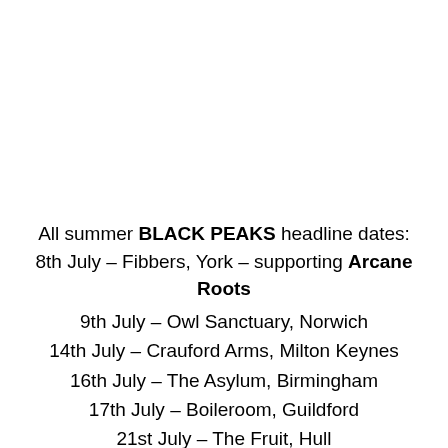All summer BLACK PEAKS headline dates: 8th July – Fibbers, York – supporting Arcane Roots
9th July – Owl Sanctuary, Norwich
14th July – Crauford Arms, Milton Keynes
16th July – The Asylum, Birmingham
17th July – Boileroom, Guildford
21st July – The Fruit, Hull
22nd July – Sugarmill, Stoke-on-Trent